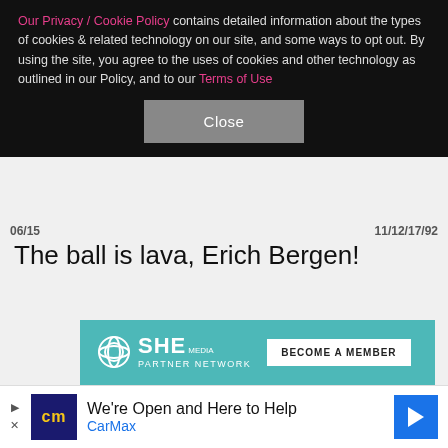Our Privacy / Cookie Policy contains detailed information about the types of cookies & related technology on our site, and some ways to opt out. By using the site, you agree to the uses of cookies and other technology as outlined in our Policy, and to our Terms of Use
Close
06/15 ... 11/12/17/92
The ball is lava, Erich Bergen!
[Figure (other): SHE Media Partner Network advertisement banner in teal/turquoise color showing logo, 'BECOME A MEMBER' button, 'Earning site & social revenue' text with dollar icon, and 'Traffic growth' text with bar chart icon]
[Figure (other): CarMax advertisement banner showing 'We're Open and Here to Help' with CarMax branding and navigation arrow icon]